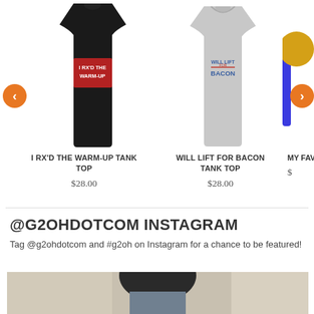[Figure (photo): Product carousel showing tank tops. Left: black tank top with 'I RX'D THE WARM-UP' text. Center: gray tank top with 'WILL LIFT FOR BACON' text. Right: partial view of a third product (medal/item). Navigation arrows on left and right sides.]
I RX'D THE WARM-UP TANK TOP
$28.00
WILL LIFT FOR BACON TANK TOP
$28.00
MY FAVO
$
@G2OHDOTCOM INSTAGRAM
Tag @g2ohdotcom and #g2oh on Instagram for a chance to be featured!
[Figure (photo): Partial Instagram photo showing a person (from neck up, cropped) with short hair, wearing a blue/grey shirt, hands near head.]